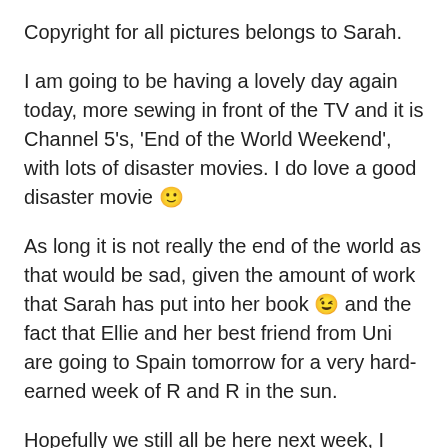Copyright for all pictures belongs to Sarah.
I am going to be having a lovely day again today, more sewing in front of the TV and it is Channel 5's, 'End of the World Weekend', with lots of disaster movies. I do love a good disaster movie 🙂
As long it is not really the end of the world as that would be sad, given the amount of work that Sarah has put into her book 😉 and the fact that Ellie and her best friend from Uni are going to Spain tomorrow for a very hard-earned week of R and R in the sun.
Hopefully we still all be here next week, I have a busy week ahead as the trainees are in all week so little crafting time but lots of fun planned around that.
Have a good week ahead and thanks for visiting